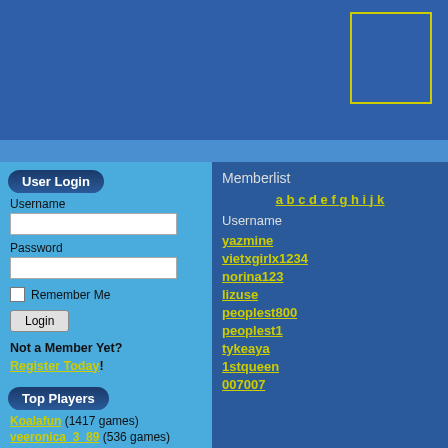[Figure (screenshot): Blue banner header area with a yellow-bordered rectangle box on the right side]
User Login
Username
Password
Remember Me
Login
Not a Member Yet? Register Today!
Top Players
Koalafun (1417 games)
veeronica_3_89 (536 games)
neo (512 games)
Memberlist
a b c d e f g h i j k
Username
yazmine
vietxgirlx1234
norina123
lizuse
peoplest800
peoplest1
tykeaya
1stqueen
007007